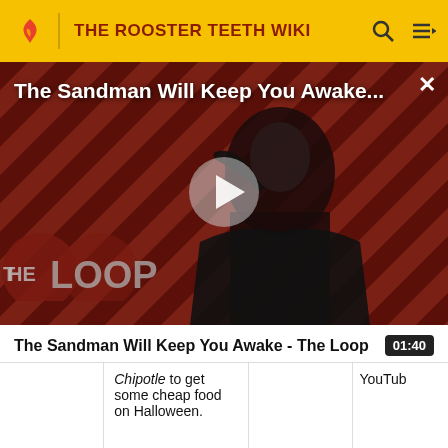THE ROOSTER TEETH WIKI
[Figure (screenshot): Video thumbnail for 'The Sandman Will Keep You Awake...' showing a figure in black against a red diagonal striped background, with a play button overlay and 'THE LOOP' logo at the bottom left. An X close button is at the top right.]
The Sandman Will Keep You Awake - The Loop
01:40
Chipotle to get some cheap food on Halloween.
YouTube